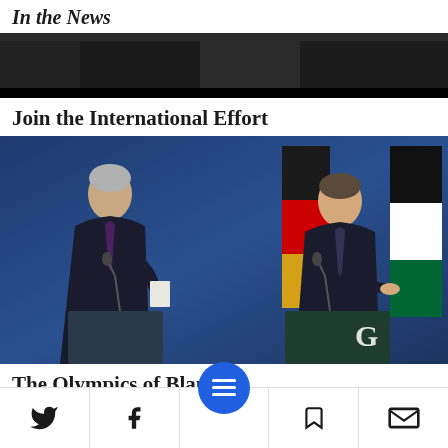In the News
[Figure (photo): Dark panoramic news header image strip]
Join the International Effort
[Figure (photo): Two officials (Palestinian President Mahmoud Abbas and German Chancellor Olaf Scholz) standing at separate podiums during a press conference, with German and Palestinian flags in the background on a blue stage]
The Olympics of Blame
Twitter, Facebook, Menu, Bookmark, Email navigation icons